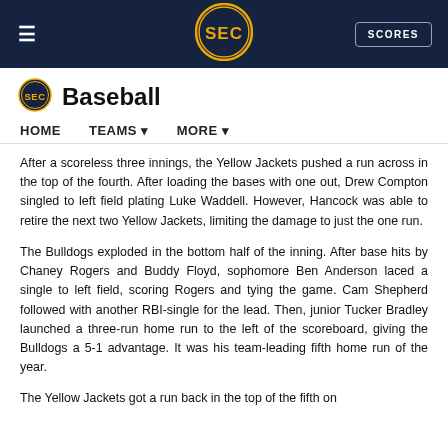SEC Baseball - SCORES
Baseball
HOME   TEAMS ▾   MORE ▾
After a scoreless three innings, the Yellow Jackets pushed a run across in the top of the fourth. After loading the bases with one out, Drew Compton singled to left field plating Luke Waddell. However, Hancock was able to retire the next two Yellow Jackets, limiting the damage to just the one run.
The Bulldogs exploded in the bottom half of the inning. After base hits by Chaney Rogers and Buddy Floyd, sophomore Ben Anderson laced a single to left field, scoring Rogers and tying the game. Cam Shepherd followed with another RBI-single for the lead. Then, junior Tucker Bradley launched a three-run home run to the left of the scoreboard, giving the Bulldogs a 5-1 advantage. It was his team-leading fifth home run of the year.
The Yellow Jackets got a run back in the top of the fifth on